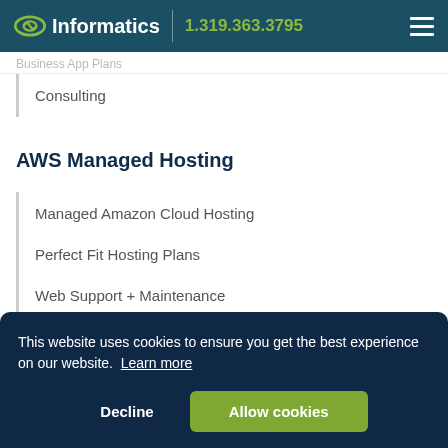Informatics | 1.319.363.3795
Consulting
AWS Managed Hosting
Managed Amazon Cloud Hosting
Perfect Fit Hosting Plans
Web Support + Maintenance
This website uses cookies to ensure you get the best experience on our website. Learn more
Decline | Allow cookies